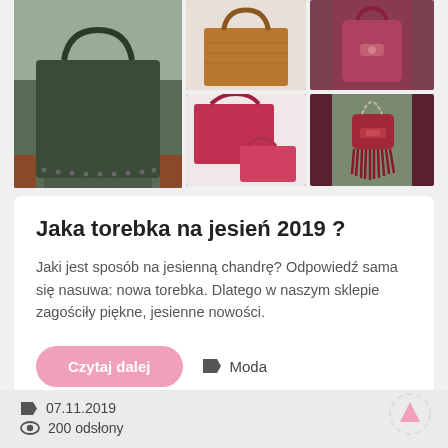[Figure (photo): Collage of three handbag photos: a dark green studded tote bag on a bench (left), a brown tote and red set of bags (center), and a burgundy crossbody bag with fringe held by a person (right)]
Jaka torebka na jesień 2019 ?
Jaki jest sposób na jesienną chandrę? Odpowiedź sama się nasuwa: nowa torebka. Dlatego w naszym sklepie zagościły piękne, jesienne nowości.
Czytaj dalej
Moda
07.11.2019
200 odsłony